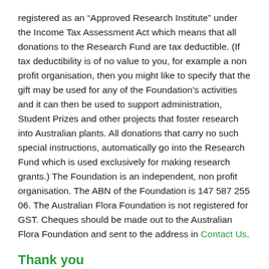registered as an “Approved Research Institute” under the Income Tax Assessment Act which means that all donations to the Research Fund are tax deductible. (If tax deductibility is of no value to you, for example a non profit organisation, then you might like to specify that the gift may be used for any of the Foundation’s activities and it can then be used to support administration, Student Prizes and other projects that foster research into Australian plants. All donations that carry no such special instructions, automatically go into the Research Fund which is used exclusively for making research grants.) The Foundation is an independent, non profit organisation. The ABN of the Foundation is 147 587 255 06. The Australian Flora Foundation is not registered for GST. Cheques should be made out to the Australian Flora Foundation and sent to the address in Contact Us.
Thank you